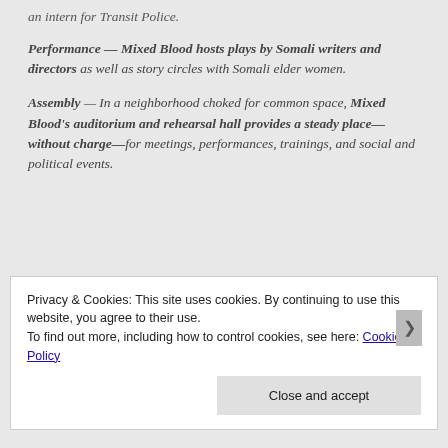an intern for Transit Police.
Performance — Mixed Blood hosts plays by Somali writers and directors as well as story circles with Somali elder women.
Assembly — In a neighborhood choked for common space, Mixed Blood's auditorium and rehearsal hall provides a steady place—without charge—for meetings, performances, trainings, and social and political events.
Privacy & Cookies: This site uses cookies. By continuing to use this website, you agree to their use. To find out more, including how to control cookies, see here: Cookie Policy
Close and accept